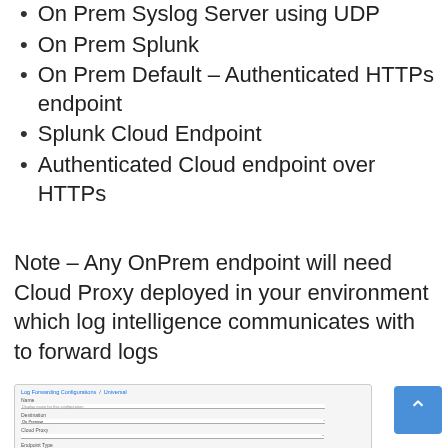On Prem Syslog Server using UDP
On Prem Splunk
On Prem Default – Authenticated HTTPs endpoint
Splunk Cloud Endpoint
Authenticated Cloud endpoint over HTTPs
Note – Any OnPrem endpoint will need Cloud Proxy deployed in your environment which log intelligence communicates with to forward logs
[Figure (screenshot): Screenshot of a Log Forwarding Configuration UI form showing fields for Name, Destination (On Premise), Cloud Proxy, and Endpoint Type with a Default option selected]